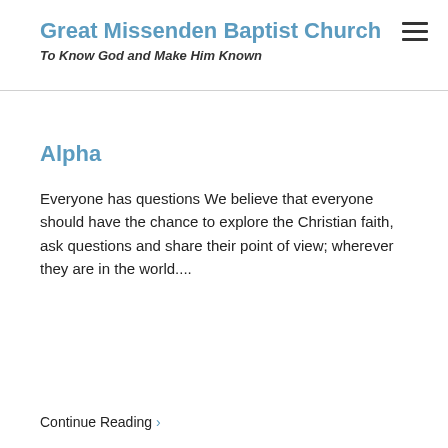Great Missenden Baptist Church
To Know God and Make Him Known
Alpha
Everyone has questions We believe that everyone should have the chance to explore the Christian faith, ask questions and share their point of view; wherever they are in the world....
Continue Reading →